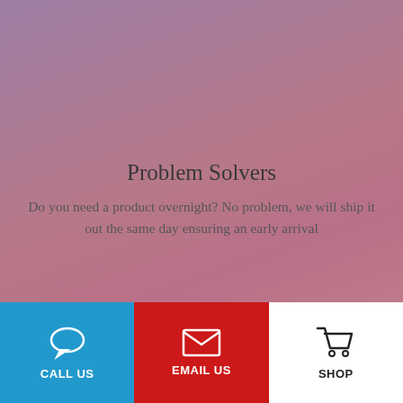Problem Solvers
Do you need a product overnight? No problem, we will ship it out the same day ensuring an early arrival
Customer Support
If meeting all your needs wasn't something we were
[Figure (infographic): Bottom navigation bar with three buttons: CALL US (blue background, chat bubble icon), EMAIL US (red background, envelope icon), SHOP (white background, shopping cart icon)]